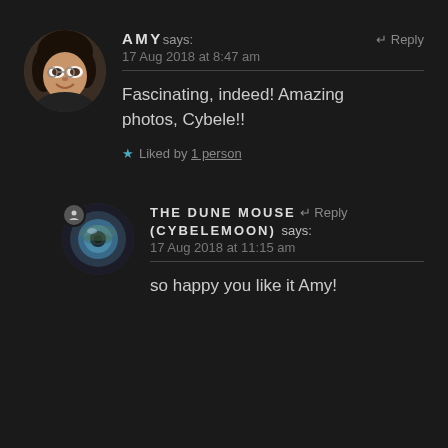[Figure (photo): Circular avatar photo of Amy, an Asian woman smiling, wearing glasses, dark hair]
AMY says:
17 Aug 2018 at 8:47 am
Fascinating, indeed! Amazing photos, Cybele!!
★ Liked by 1 person
[Figure (photo): Circular avatar showing an eye with a fisheye lens reflection, dark tones, user icon badge]
THE DUNE MOUSE (CYBELEMOON) says:
17 Aug 2018 at 11:15 am
so happy you like it Amy!